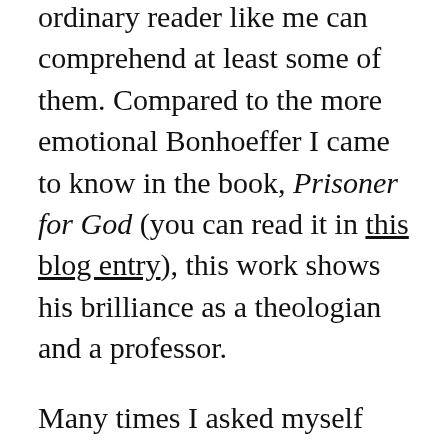ordinary reader like me can comprehend at least some of them. Compared to the more emotional Bonhoeffer I came to know in the book, Prisoner for God (you can read it in this blog entry), this work shows his brilliance as a theologian and a professor.
Many times I asked myself how it must have felt like, listening to a man like him. Thankfully, one of his students, Otto Dudzus, wrote this poignant description...